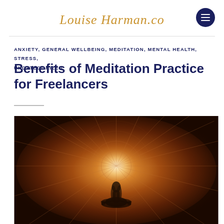Louise Harman.co
ANXIETY, GENERAL WELLBEING, MEDITATION, MENTAL HEALTH, STRESS, UNCATEGORIZED
Benefits of Meditation Practice for Freelancers
[Figure (photo): A woman sitting in a lotus meditation pose, silhouetted against a glowing mandala-like pattern with warm amber and brown tones radiating outward]